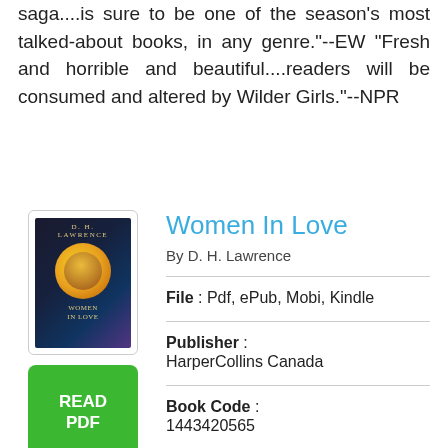saga....is sure to be one of the season's most talked-about books, in any genre."--EW "Fresh and horrible and beautiful....readers will be consumed and altered by Wilder Girls."--NPR
Women In Love
By D. H. Lawrence
[Figure (illustration): Book cover of Women In Love by D. H. Lawrence with green READ PDF button below]
File : Pdf, ePub, Mobi, Kindle
Publisher : HarperCollins Canada
Book Code : 1443420565